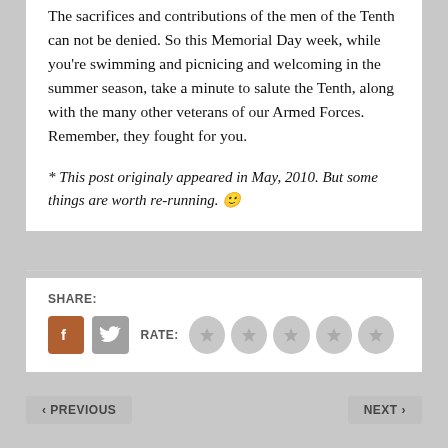The sacrifices and contributions of the men of the Tenth can not be denied. So this Memorial Day week, while you're swimming and picnicing and welcoming in the summer season, take a minute to salute the Tenth, along with the many other veterans of our Armed Forces. Remember, they fought for you.
* This post originaly appeared in May, 2010. But some things are worth re-running. 🙂
SHARE:
RATE:
< PREVIOUS
NEXT >